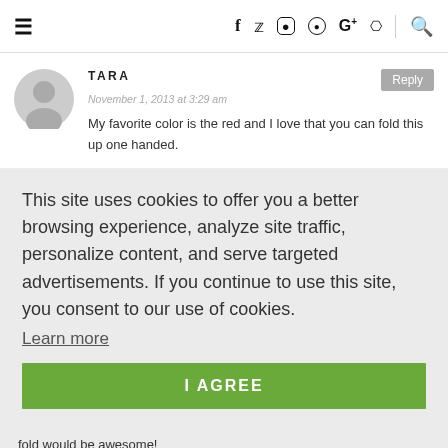≡  f  🐦  📷  Pinterest  G+  RSS  🔍
TARA
November 1, 2013 at 3:29 am
My favorite color is the red and I love that you can fold this up one handed.
This site uses cookies to offer you a better browsing experience, analyze site traffic, personalize content, and serve targeted advertisements. If you continue to use this site, you consent to our use of cookies. Learn more
I AGREE
fold would be awesome!